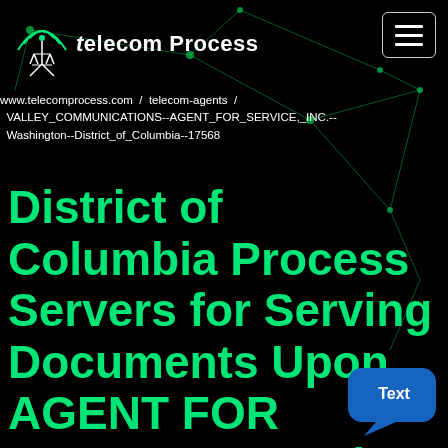[Figure (logo): Telecom Process logo with antenna/broadcast icon and text 'telecom Process']
www.telecomprocess.com / telecom-agents / VALLEY_COMMUNICATIONS--AGENT_FOR_SERVICE,_INC.--Washington--District_of_Columbia--17568
District of Columbia Process Servers for Serving Documents Upon AGENT FOR SERVICE, INC., in the District of Columbia